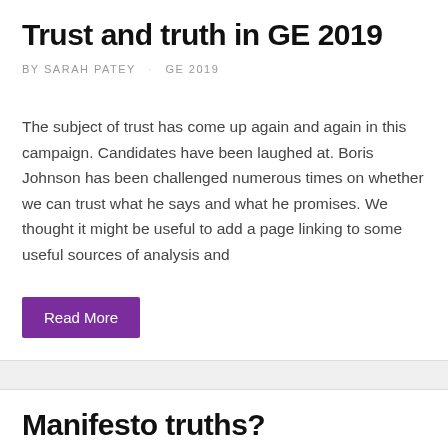Trust and truth in GE 2019
BY SARAH PATEY   GE 2019
The subject of trust has come up again and again in this campaign. Candidates have been laughed at. Boris Johnson has been challenged numerous times on whether we can trust what he says and what he promises. We thought it might be useful to add a page linking to some useful sources of analysis and
Read More
Manifesto truths?
BY SARAH PATEY   GE 2019
All the parties have now published their manifestos